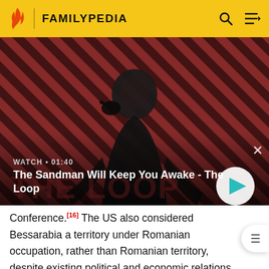FAMILYPEDIA
[Figure (screenshot): Video thumbnail for 'The Sandman Will Keep You Awake - The Loop' with a dark-cloaked figure and a raven on red diagonal striped background. Watch duration: 01:40.]
WATCH • 01:40
The Sandman Will Keep You Awake - The Loop
Conference.[16] The US also considered Bessarabia a territory under Romanian occupation, rather than Romanian territory, despite existing political and economic relations between the US and Romania.[11] Soviet Russia (and later, the USSR) did not recognize the